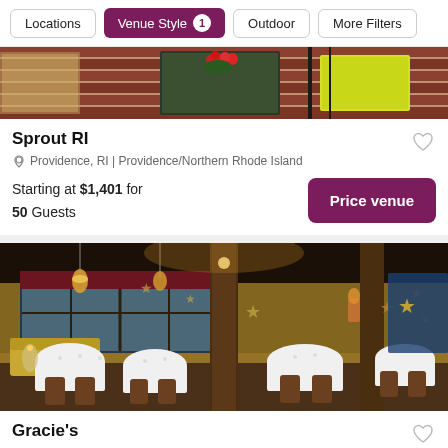Locations | Venue Style 1 | Outdoor | More Filters
[Figure (photo): Partial view of a venue exterior with brick wall, red flowers, and yellow banner]
Sprout RI
Providence, RI | Providence/Northern Rhode Island
Starting at $1,401 for 50 Guests
[Figure (photo): Interior of Gracie's restaurant: elegant dining room with white-tablecloth tables, wooden columns, warm lighting, star decorations, and yellow booth seating]
Gracie's